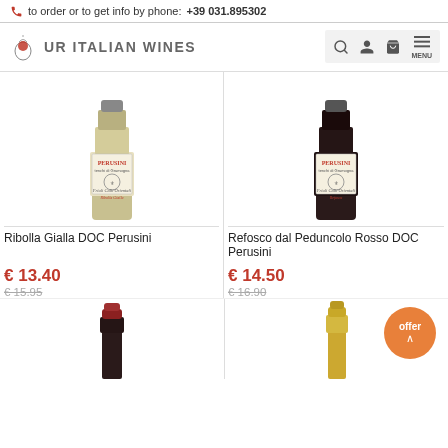to order or to get info by phone: +39 031.895302
[Figure (logo): UR Italian Wines logo with wine glass icon]
[Figure (photo): Bottle of Ribolla Gialla DOC Perusini wine - Perusini tenchi di Gramognano label, Friuli Colli Orientali]
Ribolla Gialla DOC Perusini
€ 13.40
€ 15.95
[Figure (photo): Bottle of Refosco dal Peduncolo Rosso DOC Perusini wine - Perusini tenchi di Gramognano label, Friuli Colli Orientali]
Refosco dal Peduncolo Rosso DOC Perusini
€ 14.50
€ 16.90
[Figure (photo): Top of a red wine bottle with dark red capsule]
[Figure (photo): Top of a sparkling wine bottle with gold foil, offer badge shown]